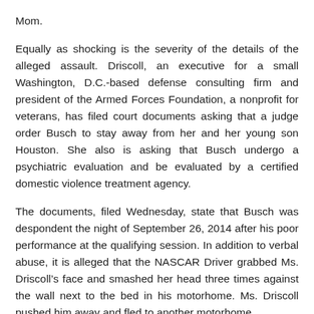Mom.
Equally as shocking is the severity of the details of the alleged assault. Driscoll, an executive for a small Washington, D.C.-based defense consulting firm and president of the Armed Forces Foundation, a nonprofit for veterans, has filed court documents asking that a judge order Busch to stay away from her and her young son Houston. She also is asking that Busch undergo a psychiatric evaluation and be evaluated by a certified domestic violence treatment agency.
The documents, filed Wednesday, state that Busch was despondent the night of September 26, 2014 after his poor performance at the qualifying session. In addition to verbal abuse, it is alleged that the NASCAR Driver grabbed Ms. Driscoll’s face and smashed her head three times against the wall next to the bed in his motorhome. Ms. Driscoll pushed him away and fled to another motorhome.
An attorney for Busch said he was cooperating with the investigation.